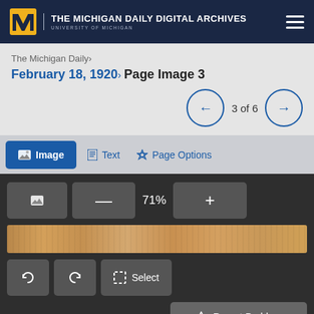THE MICHIGAN DAILY DIGITAL ARCHIVES — UNIVERSITY OF MICHIGAN
The Michigan Daily›
February 18, 1920› Page Image 3
3 of 6
Image   Text   Page Options
71%
[Figure (screenshot): Newspaper page image thumbnail strip showing aged/yellowed newsprint]
Select
▲ Report Problem